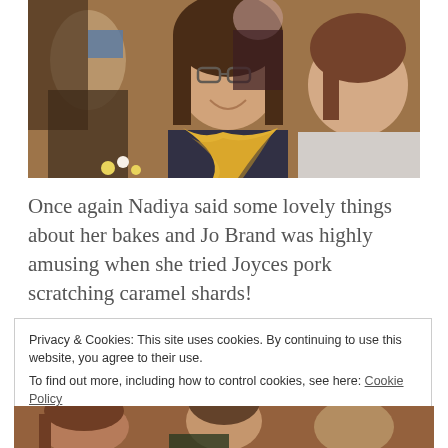[Figure (photo): Two women laughing and smiling at an event, one wearing a yellow floral scarf over a navy top, the other in a light top, with flowers visible in the foreground and other people in the background.]
Once again Nadiya said some lovely things about her bakes and Jo Brand was highly amusing when she tried Joyces pork scratching caramel shards!
Privacy & Cookies: This site uses cookies. By continuing to use this website, you agree to their use.
To find out more, including how to control cookies, see here: Cookie Policy
Close and accept
[Figure (photo): Bottom strip of a photo showing people at an event, partially visible.]